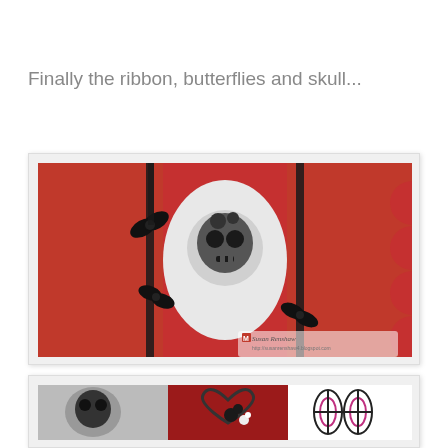Finally the ribbon, butterflies and skull...
[Figure (photo): Red handmade card with black ribbon bows and an oval cameo featuring a skull stamp. The card is open showing a scalloped edge on the right side. Watermark reads 'Susan Renshaw' with a blog URL.]
[Figure (photo): Close-up of handmade card showing a skull-themed design with red cardstock, heart shapes, black flower embellishment, white flower, and a decorative patterned panel with circles/ovals in black and pink/purple.]